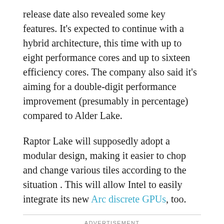release date also revealed some key features. It's expected to continue with a hybrid architecture, this time with up to eight performance cores and up to sixteen efficiency cores. The company also said it's aiming for a double-digit performance improvement (presumably in percentage) compared to Alder Lake.
Raptor Lake will supposedly adopt a modular design, making it easier to chop and change various tiles according to the situation . This will allow Intel to easily integrate its new Arc discrete GPUs, too.
ADVERTISEMENT
As Tom's Hardware reports, the initial lineup of